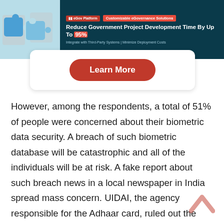[Figure (screenshot): Advertisement banner for eGov Platform: 'Customizable eGovernance Solutions — Reduce Government Project Development Time By Up To 95%' with a Learn More button on a dark teal background with puzzle piece imagery.]
However, among the respondents, a total of 51% of people were concerned about their biometric data security. A breach of such biometric database will be catastrophic and all of the individuals will be at risk. A fake report about such breach news in a local newspaper in India spread mass concern. UIDAI, the agency responsible for the Adhaar card, ruled out the news's validity and introduced a Virtual ID to prevent any Adhaar biometric data theft or duplication. This new Virtual ID will track